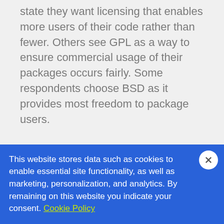state they want licensing that enables more users of their code rather than fewer. Others see GPL as a way to ensure commercial usage of their packages occurs fairly. Some respondents choose BSD as it provides most freedom to package users.
Open Source License knowledge
For the R Consortium to understand whether resources should be applied to
This website stores data such as cookies to enable essential site functionality, as well as marketing, personalization, and analytics. By remaining on this website you indicate your consent. Cookie Policy